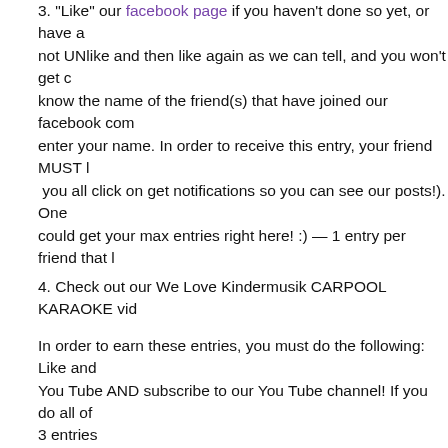3. "Like" our facebook page if you haven't done so yet, or have a not UNlike and then like again as we can tell, and you won't get c know the name of the friend(s) that have joined our facebook com enter your name. In order to receive this entry, your friend MUST  you all click on get notifications so you can see our posts!). One could get your max entries right here! :) — 1 entry per friend that l
4. Check out our We Love Kindermusik CARPOOL KARAOKE vid
In order to earn these entries, you must do the following: Like and You Tube AND subscribe to our You Tube channel! If you do all of 3 entries
5. Post on our facebook page wall WHY you love Kindermusik. O adult will be counted! — 5 entries
6. MEGA BONUS entry – Post a video or photo to our facebook pa telling us or showing us why you love Kindermusik. You will autom main contest, PLUS the Grow and Sing Studios staff will be voting that winner will automatically win a free summer semester. Creativ general contest PLUS a chance to win free semester when Grow their favorite video!
We will be keeping close track of entries, and submit your name